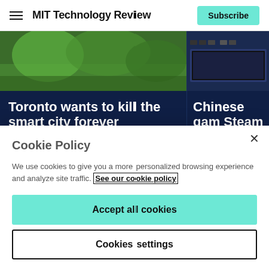MIT Technology Review
Toronto wants to kill the smart city forever
The city wants to get right what Sidewalk Labs got so wrong.
By Karrie Jacobs
Chinese game Steam wallpa porn past the
Wallpaper Engine ingenious Chinese smuggle adult co
Cookie Policy
We use cookies to give you a more personalized browsing experience and analyze site traffic. See our cookie policy
Accept all cookies
Cookies settings